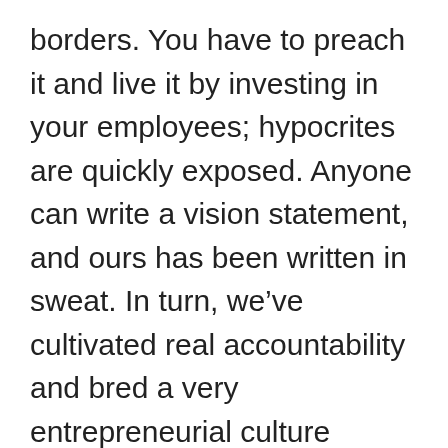borders. You have to preach it and live it by investing in your employees; hypocrites are quickly exposed. Anyone can write a vision statement, and ours has been written in sweat. In turn, we've cultivated real accountability and bred a very entrepreneurial culture where solutions and innovation come from all levels of the company. I'm also really proud of how we embrace diversity across our global teams. Your employees have to feel respected, safe and comfortable regardless of their gender, religion, background, etc. We have incredible t… …s f… …s diff… t… ll…